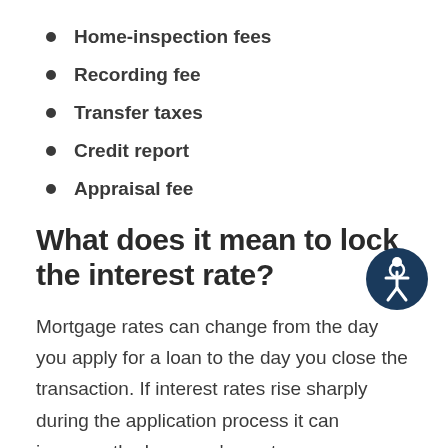Home-inspection fees
Recording fee
Transfer taxes
Credit report
Appraisal fee
What does it mean to lock the interest rate?
Mortgage rates can change from the day you apply for a loan to the day you close the transaction. If interest rates rise sharply during the application process it can increase the borrower's mortgage